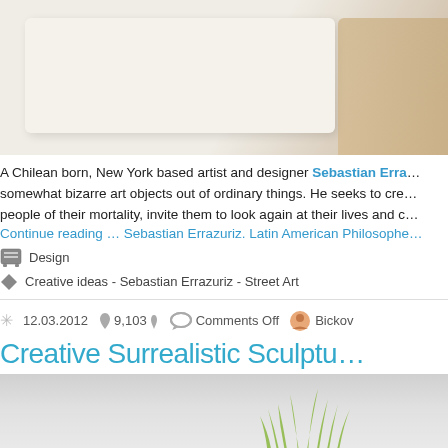[Figure (photo): Top portion of a blog page showing a whitish/cream colored art object or card on a beige/tan background, partially cropped]
A Chilean born, New York based artist and designer Sebastian Errazuriz creates somewhat bizarre art objects out of ordinary things. He seeks to create art that reminds people of their mortality, invite them to look again at their lives and c...
Continue reading … Sebastian Errazuriz. Latin American Philosophe...
Design
Creative ideas - Sebastian Errazuriz - Street Art
12.03.2012  9,103  Comments Off  Bickov
Creative Surrealistic Sculptu…
[Figure (photo): Bottom portion showing a light gray background with green grass/plant foliage visible at the right side, beginning of a new article image]